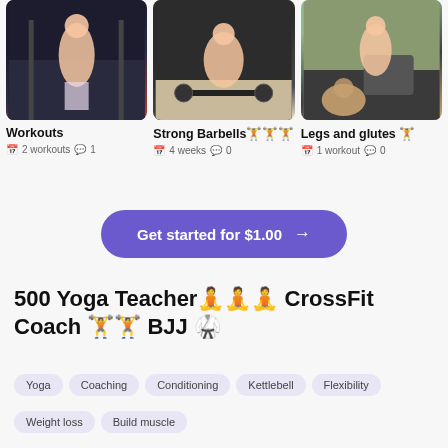[Figure (photo): Three workout/fitness card thumbnails: left shows a woman jumping rope in a gym, center shows a woman deadlifting a barbell, right shows a woman stretching with a dog on a gym box]
Workouts
2 workouts  1
Strong Barbells🏋🏋🏋
4 weeks  0
Legs and glutes 🏋
1 workout  0
Get started for $1.00 →
500 Yoga Teacher🧘🧘🧘 CrossFit Coach 🏋🏋 BJJ 🥋
Yoga
Coaching
Conditioning
Kettlebell
Flexibility
Weight loss
Build muscle